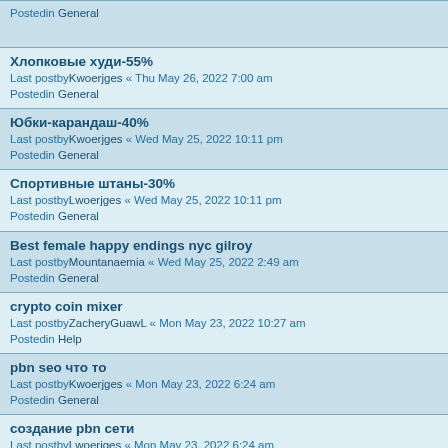Postedin General
Хлопковые худи-55%
Last postby Kwoerjges « Thu May 26, 2022 7:00 am
Postedin General
Юбки-карандаш-40%
Last postby Kwoerjges « Wed May 25, 2022 10:11 pm
Postedin General
Спортивные штаны-30%
Last postby Lwoerjges « Wed May 25, 2022 10:11 pm
Postedin General
Best female happy endings nyc gilroy
Last postby Mountanaemia « Wed May 25, 2022 2:49 am
Postedin General
crypto coin mixer
Last postby ZacheryGuawL « Mon May 23, 2022 10:27 am
Postedin Help
pbn seo что то
Last postby Kwoerjges « Mon May 23, 2022 6:24 am
Postedin General
создание pbn сети
Last postby Lwoerjges « Mon May 23, 2022 6:24 am
Postedin General
btcmixer
Last postby ZacheryGuawL « Mon May 23, 2022 3:11 am
Postedin Help
(partial item below)